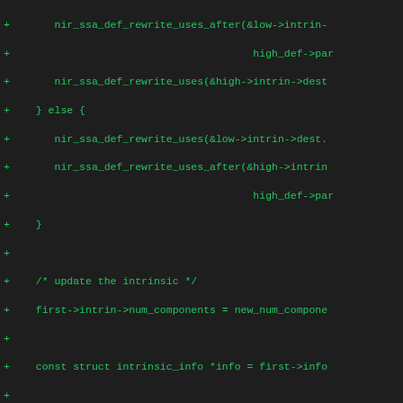[Figure (screenshot): A code diff screenshot showing C source code additions (lines prefixed with '+') in green monospace font on a dark background. The code appears to be related to NIR shader compiler SSA rewriting and intrinsic update logic.]